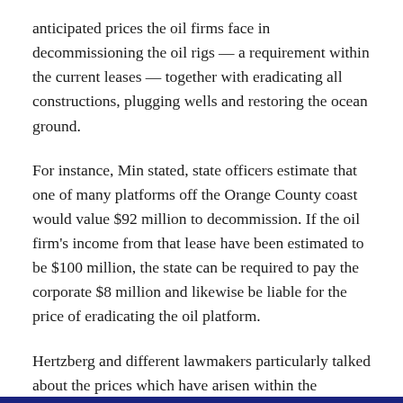anticipated prices the oil firms face in decommissioning the oil rigs — a requirement within the current leases — together with eradicating all constructions, plugging wells and restoring the ocean ground.
For instance, Min stated, state officers estimate that one of many platforms off the Orange County coast would value $92 million to decommission. If the oil firm's income from that lease have been estimated to be $100 million, the state can be required to pay the corporate $8 million and likewise be liable for the price of eradicating the oil platform.
Hertzberg and different lawmakers particularly talked about the prices which have arisen within the decommissioning of Platform Holly off the Santa Barbara coast, expressing concern that the state might find yourself in the same predicament with the oil rigs off Orange County. The state of California took management of Platform Holly in 2017 after its operator,